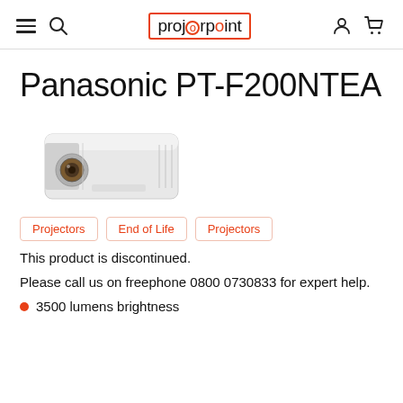projectorpoint
Panasonic PT-F200NTEA
[Figure (photo): White Panasonic PT-F200NTEA projector unit shown from the front-left angle, with a visible lens.]
Projectors
End of Life
Projectors
This product is discontinued.
Please call us on freephone 0800 0730833 for expert help.
3500 lumens brightness